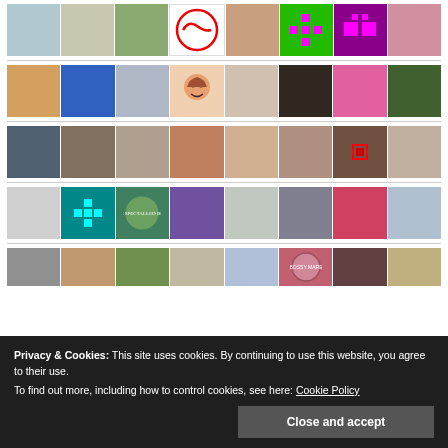[Figure (photo): Row 1: grid of avatar/profile photos and icons including faces and pixel art icons]
[Figure (photo): Row 2: grid of avatar/profile photos and icons including faces and illustrations]
[Figure (photo): Row 3: grid of avatar/profile photos showing various people]
[Figure (photo): Row 4: grid of avatar/profile photos and icons]
[Figure (photo): Row 5: grid of avatar/profile photos partially visible]
Privacy & Cookies: This site uses cookies. By continuing to use this website, you agree to their use. To find out more, including how to control cookies, see here: Cookie Policy
Close and accept